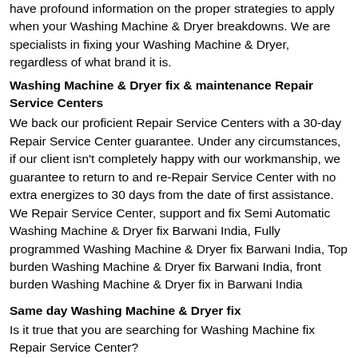have profound information on the proper strategies to apply when your Washing Machine & Dryer breakdowns. We are specialists in fixing your Washing Machine & Dryer, regardless of what brand it is.
Washing Machine & Dryer fix & maintenance Repair Service Centers
We back our proficient Repair Service Centers with a 30-day Repair Service Center guarantee. Under any circumstances, if our client isn't completely happy with our workmanship, we guarantee to return to and re-Repair Service Center with no extra energizes to 30 days from the date of first assistance. We Repair Service Center, support and fix Semi Automatic Washing Machine & Dryer fix Barwani India, Fully programmed Washing Machine & Dryer fix Barwani India, Top burden Washing Machine & Dryer fix Barwani India, front burden Washing Machine & Dryer fix in Barwani India
Same day Washing Machine & Dryer fix
Is it true that you are searching for Washing Machine fix Repair Service Center?
Our talented experts do similarly great job as most